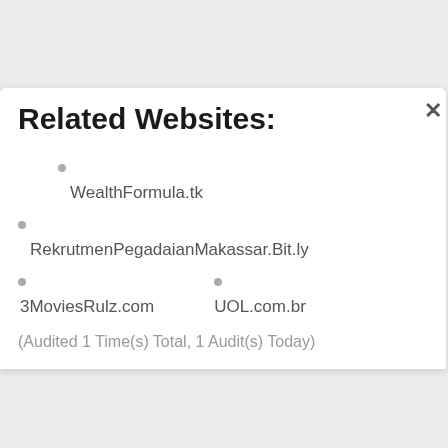Related Websites:
WealthFormula.tk
RekrutmenPegadaianMakassar.Bit.ly
3MoviesRulz.com
UOL.com.br
(Audited 1 Time(s) Total, 1 Audit(s) Today)